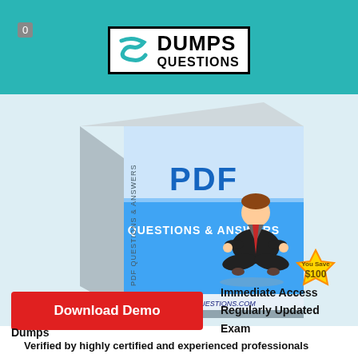0 DUMPS QUESTIONS
[Figure (illustration): Product box showing PDF Questions & Answers with a man in business suit sitting in lotus meditation pose. Box has blue and white design with text PDF QUESTIONS & ANSWERS and WWW.DUMPS-QUESTIONS.COM. A gold badge reads You Save $100.]
Download Demo
Immediate Access
Regularly Updated Exam Dumps
Verified by highly certified and experienced professionals